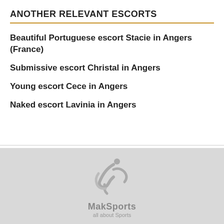ANOTHER RELEVANT ESCORTS
Beautiful Portuguese escort Stacie in Angers (France)
Submissive escort Christal in Angers
Young escort Cece in Angers
Naked escort Lavinia in Angers
[Figure (logo): MakSports logo with stylized figure and text 'MakSports all about Sports' on grey background]